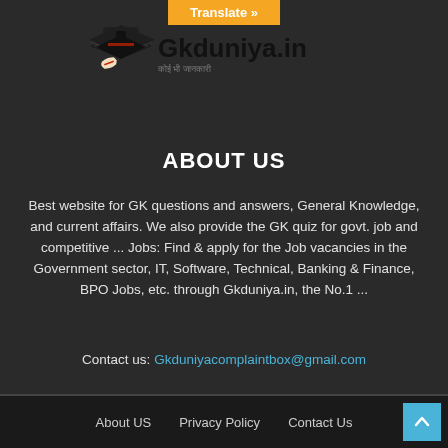Translate »
[Figure (logo): Graduation cap and diploma logo icon with text Gkduniya.in and subtitle]
ABOUT US
Best website for GK questions and answers, General Knowledge, and current affairs. We also provide the GK quiz for govt. job and competitive ... Jobs: Find & apply for the Job vacancies in the Government sector, IT, Software, Technical, Banking & Finance, BPO Jobs, etc. through Gkduniya.in, the No.1 ...
Contact us: Gkduniyacomplaintbox@gmail.com
About US    Privacy Policy    Contact Us